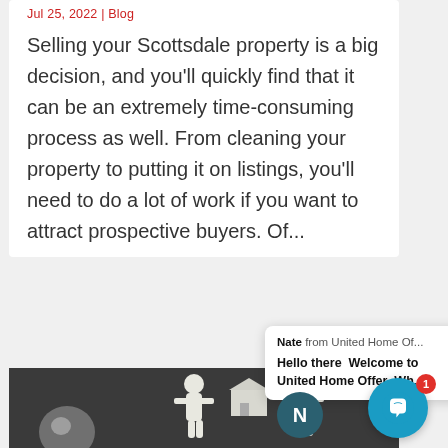Jul 25, 2022 | Blog
Selling your Scottsdale property is a big decision, and you'll quickly find that it can be an extremely time-consuming process as well. From cleaning your property to putting it on listings, you'll need to do a lot of work if you want to attract prospective buyers. Of...
Nate from United Home Of...
Hello there  Welcome to United Home Offer  Wh...
[Figure (photo): Dark background photo showing paper cutout figures of people exchanging a house model, with a metallic sphere/orb on the left side]